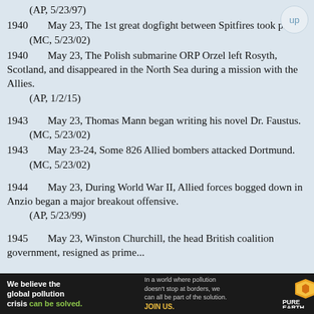(AP, 5/23/97)
1940    May 23, The 1st great dogfight between Spitfires took place.
(MC, 5/23/02)
1940    May 23, The Polish submarine ORP Orzel left Rosyth, Scotland, and disappeared in the North Sea during a mission with the Allies.
(AP, 1/2/15)
1943    May 23, Thomas Mann began writing his novel Dr. Faustus.
(MC, 5/23/02)
1943    May 23-24, Some 826 Allied bombers attacked Dortmund.
(MC, 5/23/02)
1944    May 23, During World War II, Allied forces bogged down in Anzio began a major breakout offensive.
(AP, 5/23/99)
1945    May 23, Winston Churchill, the head British coalition...
[Figure (other): Advertisement banner for Pure Earth: 'We believe the global pollution crisis can be solved.' with JOIN US call to action]